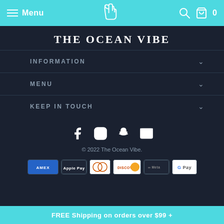Menu
THE OCEAN VIBE
INFORMATION
MENU
KEEP IN TOUCH
[Figure (illustration): Social media icons: Facebook, Instagram, Snapchat, Email]
© 2022 The Ocean Vibe.
[Figure (illustration): Payment method badges: AMEX, Apple Pay, Diners, Discover, Meta, Google Pay]
FREE Shipping on orders over $99 +